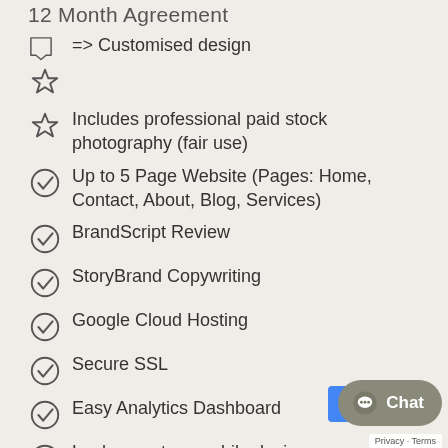12 Month Agreement
=> Customised design
Includes professional paid stock photography (fair use)
Up to 5 Page Website (Pages: Home, Contact, About, Blog, Services)
BrandScript Review
StoryBrand Copywriting
Google Cloud Hosting
Secure SSL
Easy Analytics Dashboard
Looks great on mobile devices